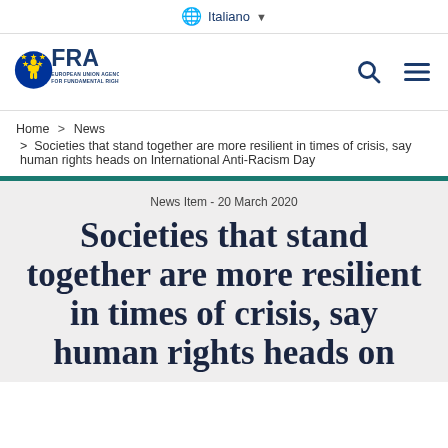🌐 Italiano ▾
[Figure (logo): FRA European Union Agency for Fundamental Rights logo — blue/yellow EU stars circle with person figure, bold blue text FRA, smaller text EUROPEAN UNION AGENCY FOR FUNDAMENTAL RIGHTS]
Home > News > Societies that stand together are more resilient in times of crisis, say human rights heads on International Anti-Racism Day
News Item - 20 March 2020
Societies that stand together are more resilient in times of crisis, say human rights heads on